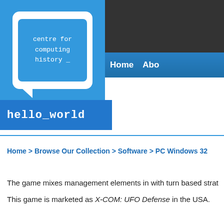[Figure (logo): Centre for Computing History logo: blue background with white monitor shape containing blue screen with monospace text 'centre for computing history _', speech bubble design]
hello_world
Home  Abo
Home > Browse Our Collection > Software > PC Windows 32
The game mixes management elements in with turn based strat
This game is marketed as X-COM: UFO Defense in the USA.